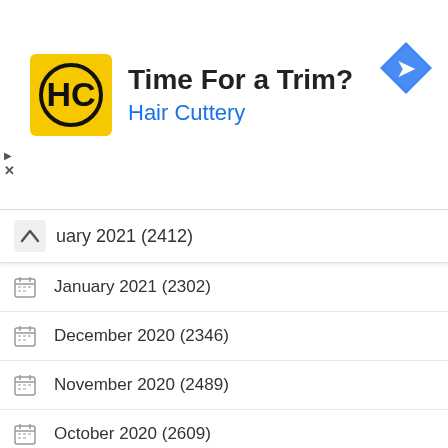[Figure (screenshot): Hair Cuttery advertisement banner with HC logo, text 'Time For a Trim? Hair Cuttery', and a blue navigation arrow icon]
February 2021 (2412)
January 2021 (2302)
December 2020 (2346)
November 2020 (2489)
October 2020 (2609)
September 2020 (2403)
August 2020 (2516)
July 2020 (2535)
June 2020 (2424)
May 2020 (2577)